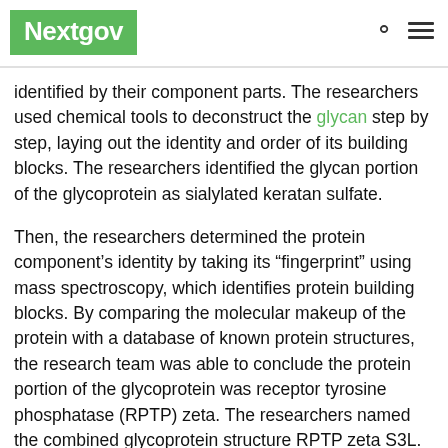Nextgov
identified by their component parts. The researchers used chemical tools to deconstruct the glycan step by step, laying out the identity and order of its building blocks. The researchers identified the glycan portion of the glycoprotein as sialylated keratan sulfate.
Then, the researchers determined the protein component’s identity by taking its “fingerprint” using mass spectroscopy, which identifies protein building blocks. By comparing the molecular makeup of the protein with a database of known protein structures, the research team was able to conclude the protein portion of the glycoprotein was receptor tyrosine phosphatase (RPTP) zeta. The researchers named the combined glycoprotein structure RPTP zeta S3L.
The group had previously found the same glycan “signature” on a protein that controls allergic responses in the airway, and that